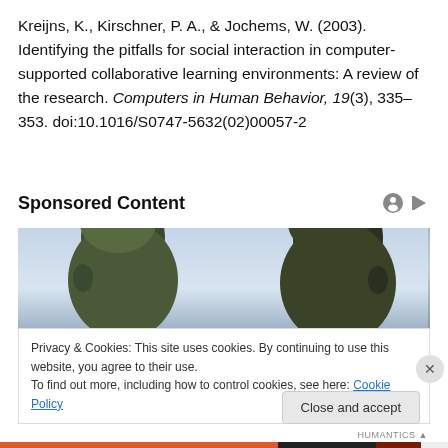Kreijns, K., Kirschner, P. A., & Jochems, W. (2003). Identifying the pitfalls for social interaction in computer-supported collaborative learning environments: A review of the research. Computers in Human Behavior, 19(3), 335–353. doi:10.1016/S0747-5632(02)00057-2
Sponsored Content
[Figure (photo): Advertisement image showing two human silhouettes/head profiles from behind, against a light sky background]
Privacy & Cookies: This site uses cookies. By continuing to use this website, you agree to their use.
To find out more, including how to control cookies, see here: Cookie Policy